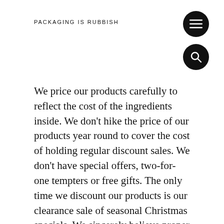PACKAGING IS RUBBISH
We price our products carefully to reflect the cost of the ingredients inside. We don't hike the price of our products year round to cover the cost of holding regular discount sales. We don't have special offers, two-for-one tempters or free gifts. The only time we discount our products is our clearance sale of seasonal Christmas specials. We sincerely believe proper product advice and a personalised service can bring greater savings to a customer than gimmicky offers.
Most bathrooms are full of unwanted product bought in error because the packaging was eye-catching or there was a tempting offer at the shop. All of them bought from